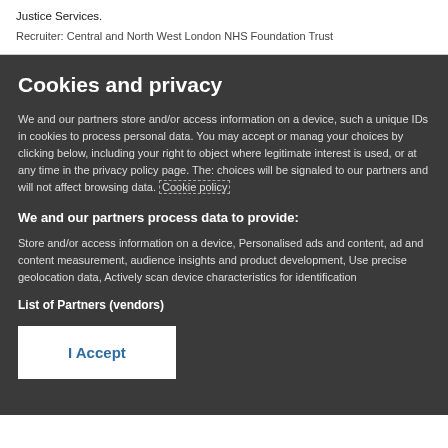Justice Services.
Recruiter: Central and North West London NHS Foundation Trust
Cookies and privacy
We and our partners store and/or access information on a device, such as unique IDs in cookies to process personal data. You may accept or manage your choices by clicking below, including your right to object where legitimate interest is used, or at any time in the privacy policy page. These choices will be signaled to our partners and will not affect browsing data. Cookie policy
We and our partners process data to provide:
Store and/or access information on a device, Personalised ads and content, ad and content measurement, audience insights and product development, Use precise geolocation data, Actively scan device characteristics for identification
List of Partners (vendors)
I Accept